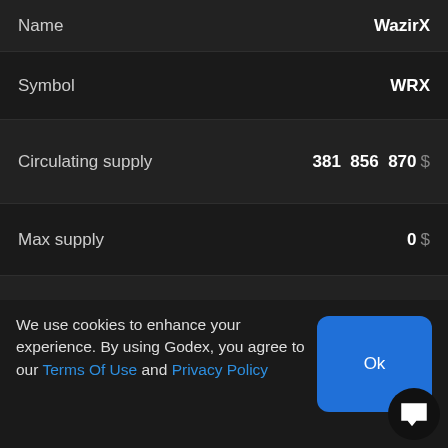| Field | Value |
| --- | --- |
| Name | WazirX |
| Symbol | WRX |
| Circulating supply | 381 856 870 $ |
| Max supply | 0 $ |
| Cmc rank | 288 |
| Volume 24h | 1 844 848 $ |
| Percent change 1h | 0,52 % |
We use cookies to enhance your experience. By using Godex, you agree to our Terms Of Use and Privacy Policy
Ok